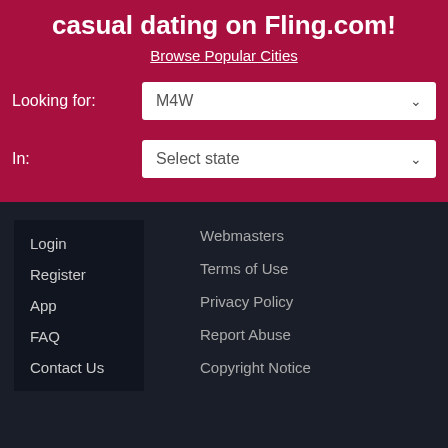casual dating on Fling.com!
Browse Popular Cities
Looking for: M4W
In: Select state
Login
Register
App
FAQ
Contact Us
Webmasters
Terms of Use
Privacy Policy
Report Abuse
Copyright Notice
Copyright © 2022 All Rights Reserved, www.fling.com
Questions? Call us: 1 (888) 617-2001